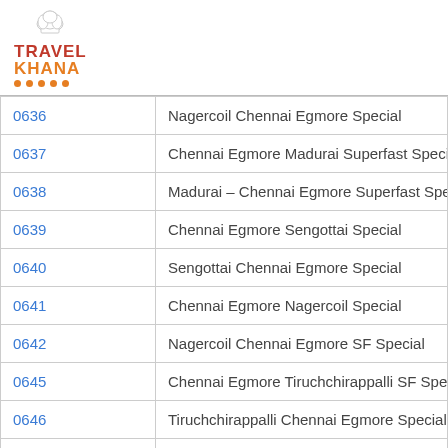[Figure (logo): Travel Khana logo with chef hat icon, red TRAVEL text, orange KHANA text, and orange dots underline]
| Code | Train Name |
| --- | --- |
| 0636 | Nagercoil Chennai Egmore Special |
| 0637 | Chennai Egmore Madurai Superfast Special |
| 0638 | Madurai – Chennai Egmore Superfast Speci… |
| 0639 | Chennai Egmore Sengottai Special |
| 0640 | Sengottai Chennai Egmore Special |
| 0641 | Chennai Egmore Nagercoil Special |
| 0642 | Nagercoil Chennai Egmore SF Special |
| 0645 | Chennai Egmore Tiruchchirappalli SF Specia… |
| 0646 | Tiruchchirappalli Chennai Egmore Special |
| 0653 | Chennai Madurai Spl |